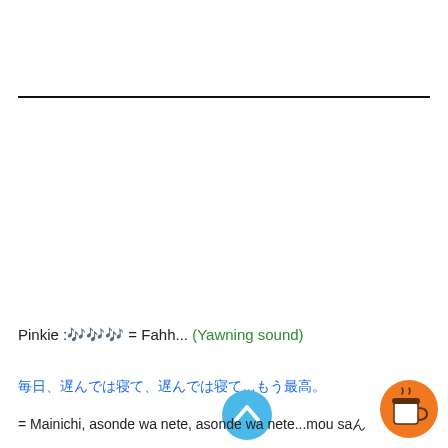[Figure (other): Horizontal divider line across the page]
Pinkie :🎶🎶🎶 = Fahh... (Yawning sound)
毎日、遊んでは寝て、遊んでは寝て…もう最高。
= Mainichi, asonde wa nete, asonde wa nete...mou sa...